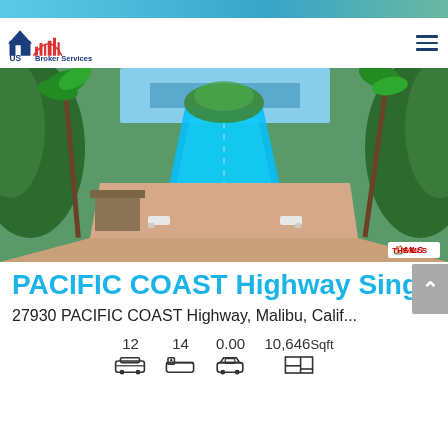[Figure (logo): US Broker Services logo with house icon in blue and red]
[Figure (photo): Aerial view of a luxury Malibu property showing a long lap pool surrounded by palm trees and lush landscaping, with the ocean visible in the background. Lounge chairs and outdoor furniture on the patio.]
PACIFIC COAST Highway Single Fa...
27930 PACIFIC COAST Highway, Malibu, Calif...
12   14   0.00   10,646Sqft